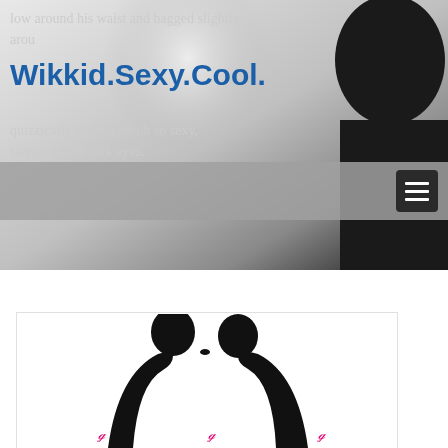[Figure (photo): Hero background image of a person, grayscale/light tones with dark silhouette on right side]
low around his waist and bagged slightly around his... quizzically with those oh so sexy, sleepy lidded dark eyes.
Wikkid.Sexy.Cool.
Navigation bar with hamburger menu icon
[Figure (photo): Silhouette of romantic couple facing each other closely, about to kiss, on white background with pink script text at bottom]